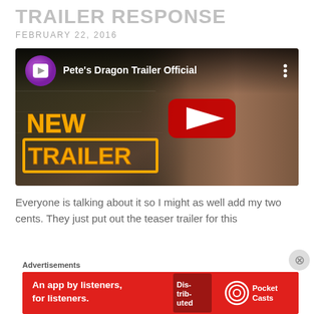TRAILER RESPONSE
FEBRUARY 22, 2016
[Figure (screenshot): YouTube video thumbnail for Pete's Dragon Trailer Official, showing a woman in ranger uniform with 'NEW TRAILER' overlay text and a large red YouTube play button.]
Everyone is talking about it so I might as well add my two cents. They just put out the teaser trailer for this
Advertisements
[Figure (other): Pocket Casts advertisement banner with text 'An app by listeners, for listeners.' on a red background with phone image and Pocket Casts logo.]